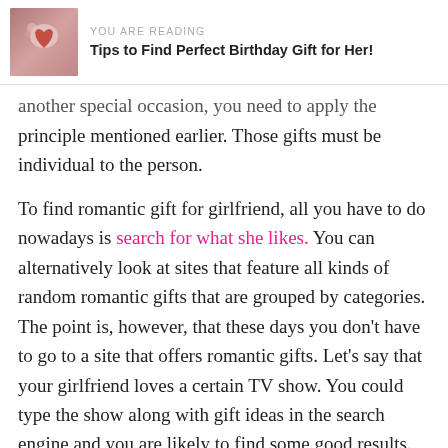YOU ARE READING
Tips to Find Perfect Birthday Gift for Her!
another special occasion, you need to apply the principle mentioned earlier. Those gifts must be individual to the person.
To find romantic gift for girlfriend, all you have to do nowadays is search for what she likes. You can alternatively look at sites that feature all kinds of random romantic gifts that are grouped by categories. The point is, however, that these days you don't have to go to a site that offers romantic gifts. Let's say that your girlfriend loves a certain TV show. You could type the show along with gift ideas in the search engine and you are likely to find some good results.